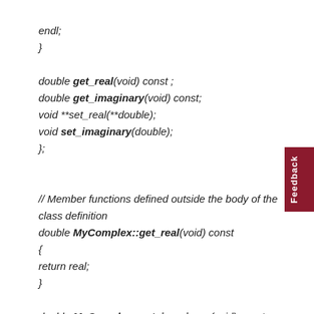endl;
}

double get_real(void) const ;
double get_imaginary(void) const;
void **set_real(**double);
void set_imaginary(double);
};

// Member functions defined outside the body of the class definition
double MyComplex::get_real(void) const
{
return real;
}

double MyComplex::get_imaginary(void) const
{
return imaginary;